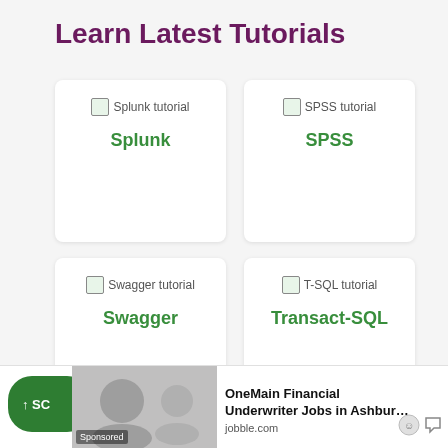Learn Latest Tutorials
[Figure (illustration): Splunk tutorial card with broken image icon and label 'Splunk']
[Figure (illustration): SPSS tutorial card with broken image icon and label 'SPSS']
[Figure (illustration): Swagger tutorial card with broken image icon and label 'Swagger']
[Figure (illustration): T-SQL tutorial card with broken image icon and label 'Transact-SQL']
[Figure (illustration): Tumblr tutorial card with broken image icon and label 'Tumblr']
[Figure (illustration): ReactJS tutorial card with broken image icon and label 'ReactJS']
OneMain Financial Underwriter Jobs in Ashbur… jobble.com